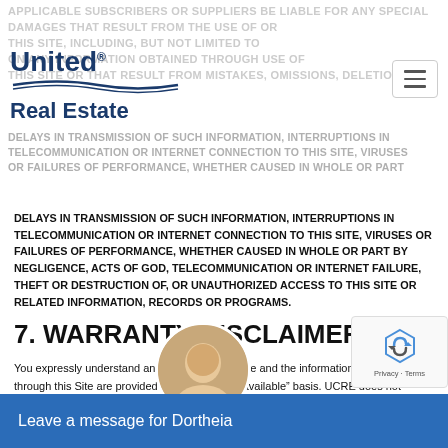APPLICABLE SUBSCRIBERS OR SUPPLIERS BE LIABLE FOR ANY SPECIAL DAMAGES THAT RESULT FROM THE USE OF OR INABILITY TO USE THIS SITE, INCLUDING, BUT NOT LIMITED TO DAMAGES BASED ON ANY INFORMATION OBTAINED THROUGH USE OF THIS SITE OR THAT RESULT FROM MISTAKES, OMISSIONS, DELETIONS OR
[Figure (logo): United Real Estate logo with swoosh graphic]
DELAYS IN TRANSMISSION OF SUCH INFORMATION, INTERRUPTIONS IN TELECOMMUNICATION OR INTERNET CONNECTION TO THIS SITE, VIRUSES OR FAILURES OF PERFORMANCE, WHETHER CAUSED IN WHOLE OR PART BY NEGLIGENCE, ACTS OF GOD, TELECOMMUNICATION OR INTERNET FAILURE, THEFT OR DESTRUCTION OF, OR UNAUTHORIZED ACCESS TO THIS SITE OR RELATED INFORMATION, RECORDS OR PROGRAMS.
7. WARRANTY DISCLAIMER.
You expressly understand and agree that this Site and the information available through this Site are provided on an “as is” “as available” basis. UCRE does not warrant that this Site will be uninterrupted or error-free, and UCRE makes no warranty as to the accuracy, completeness, authenticity, or reliability of any information available through the Site. UCRE expressly disclaims any and all warranties with respect to the Site and the information available through the Site, including but not limited to implied warranties and the information to